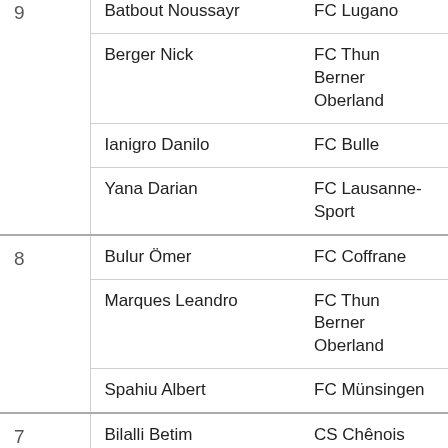| Rank | Name | Club |
| --- | --- | --- |
| 9 | Batbout Noussayr | FC Lugano |
|  | Berger Nick | FC Thun Berner Oberland |
|  | Ianigro Danilo | FC Bulle |
|  | Yana Darian | FC Lausanne-Sport |
| 8 | Bulur Ömer | FC Coffrane |
|  | Marques Leandro | FC Thun Berner Oberland |
|  | Spahiu Albert | FC Münsingen |
| 7 | Bilalli Betim | CS Chênois |
|  | Liechti Martin | Lancy FC |
|  | Mapwata Kevin | Vevey-Sports |